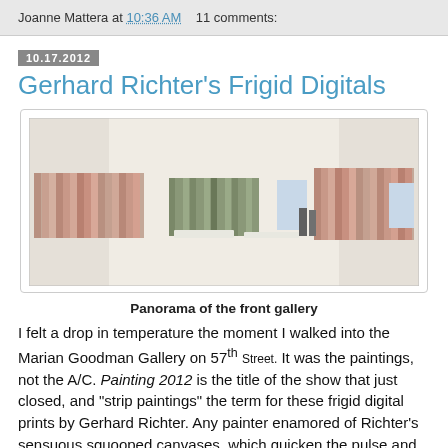Joanne Mattera at 10:36 AM   11 comments:
10.17.2012
Gerhard Richter's Frigid Digitals
[Figure (photo): Panoramic view of the front gallery showing large strip paintings by Gerhard Richter hung on white walls, with two visitors in the center and white benches on the floor.]
Panorama of the front gallery
I felt a drop in temperature the moment I walked into the Marian Goodman Gallery on 57th Street. It was the paintings, not the A/C. Painting 2012 is the title of the show that just closed, and "strip paintings" the term for these frigid digital prints by Gerhard Richter. Any painter enamored of Richter's sensuous squooped canvases, which quicken the pulse and